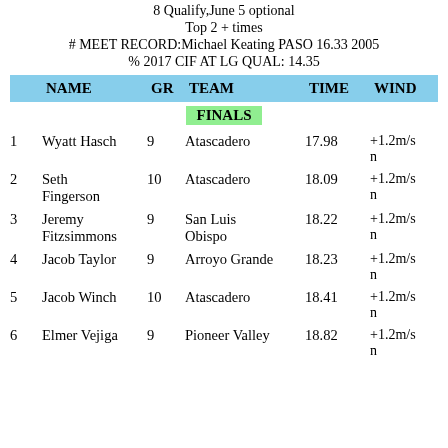8 Qualify,June 5 optional
Top 2 + times
# MEET RECORD:Michael Keating PASO 16.33 2005
% 2017 CIF AT LG QUAL: 14.35
| NAME | GR | TEAM | TIME | WIND |
| --- | --- | --- | --- | --- |
| 1  Wyatt Hasch | 9 | Atascadero | 17.98 | +1.2m/s n |
| 2  Seth Fingerson | 10 | Atascadero | 18.09 | +1.2m/s n |
| 3  Jeremy Fitzsimmons | 9 | San Luis Obispo | 18.22 | +1.2m/s n |
| 4  Jacob Taylor | 9 | Arroyo Grande | 18.23 | +1.2m/s n |
| 5  Jacob Winch | 10 | Atascadero | 18.41 | +1.2m/s n |
| 6  Elmer Vejiga | 9 | Pioneer Valley | 18.82 | +1.2m/s n |